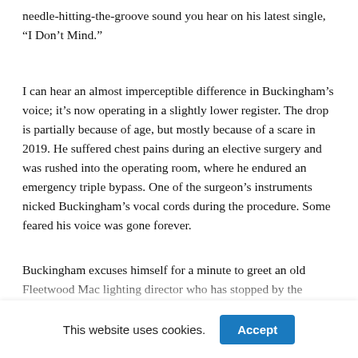needle-hitting-the-groove sound you hear on his latest single, “I Don’t Mind.”
I can hear an almost imperceptible difference in Buckingham’s voice; it’s now operating in a slightly lower register. The drop is partially because of age, but mostly because of a scare in 2019. He suffered chest pains during an elective surgery and was rushed into the operating room, where he endured an emergency triple bypass. One of the surgeon’s instruments nicked Buckingham’s vocal cords during the procedure. Some feared his voice was gone forever.
Buckingham excuses himself for a minute to greet an old Fleetwood Mac lighting director who has stopped by the rehearsal space. His guitarist, Neale Heywood, wanders…
This website uses cookies.
Accept